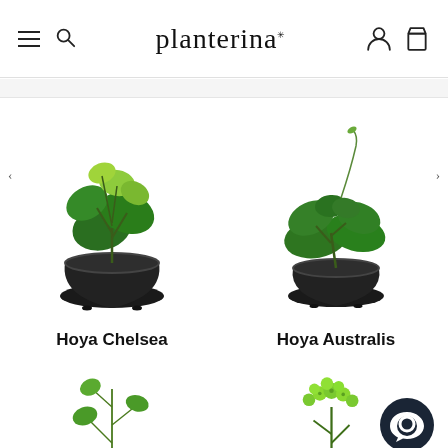planterina
[Figure (photo): Hoya Chelsea plant in a black pot]
Hoya Chelsea
[Figure (photo): Hoya Australis plant in a black pot]
Hoya Australis
[Figure (photo): Partial view of a plant in a pot (bottom left)]
[Figure (photo): Partial view of a plant with green flower clusters (bottom right)]